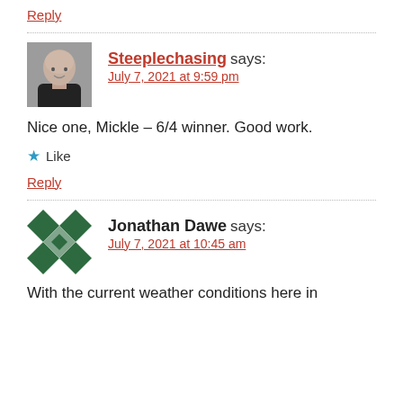Reply
Steeplechasing says:
July 7, 2021 at 9:59 pm
Nice one, Mickle – 6/4 winner. Good work.
★ Like
Reply
Jonathan Dawe says:
July 7, 2021 at 10:45 am
With the current weather conditions here in